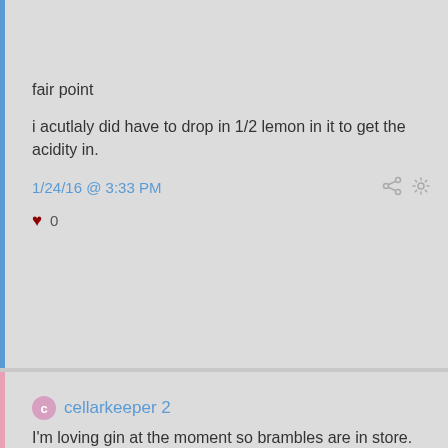fair point

i acutlaly did have to drop in 1/2 lemon in it to get the acidity in.
1/24/16 @ 3:33 PM
♥ 0
cellarkeeper 2
I'm loving gin at the moment so brambles are in store.
1/26/16 @ 11:05 PM